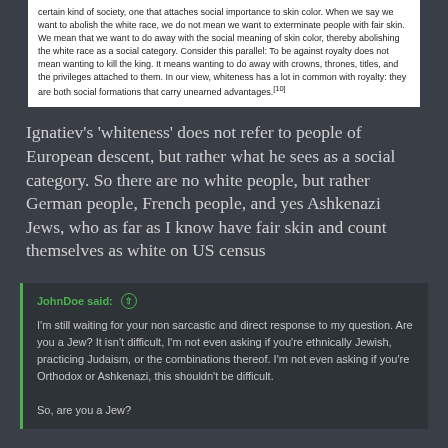certain kind of society, one that attaches social importance to skin color. When we say we want to abolish the white race, we do not mean we want to exterminate people with fair skin. We mean that we want to do away with the social meaning of skin color, thereby abolishing the white race as a social category. Consider this parallel: To be against royalty does not mean wanting to kill the king. It means wanting to do away with crowns, thrones, titles, and the privileges attached to them. In our view, whiteness has a lot in common with royalty: they are both social formations that carry unearned advantages.[10]
Ignatiev's 'whiteness' does not refer to people of European descent, but rather what he sees as a social category. So there are no white people, but rather German people, French people, and yes Ashkenazi Jews, who as far as I know have fair skin and count themselves as white on US census
JohnDoe said: ↑ I'm still waiting for your non sarcastic and direct response to my question. Are you a Jew? It isn't difficult, I'm not even asking if you're ethnically Jewish, practicing Judaism, or the combinations thereof. I'm not even asking if you're Orthodox or Ashkenazi, this shouldn't be difficult.

So, are you a Jew?